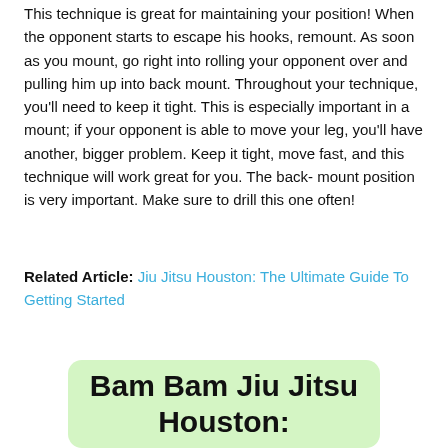This technique is great for maintaining your position! When the opponent starts to escape his hooks, remount. As soon as you mount, go right into rolling your opponent over and pulling him up into back mount. Throughout your technique, you'll need to keep it tight. This is especially important in a mount; if your opponent is able to move your leg, you'll have another, bigger problem. Keep it tight, move fast, and this technique will work great for you. The back- mount position is very important. Make sure to drill this one often!
Related Article: Jiu Jitsu Houston: The Ultimate Guide To Getting Started
Bam Bam Jiu Jitsu Houston: